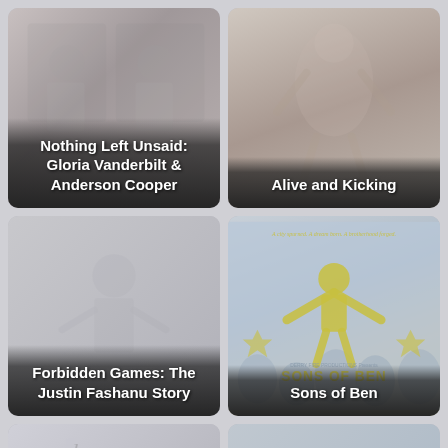[Figure (photo): Movie poster thumbnail for 'Nothing Left Unsaid: Gloria Vanderbilt & Anderson Cooper' with dark gradient overlay and white bold title text]
[Figure (photo): Movie poster thumbnail for 'Alive and Kicking' with faded image and dark gradient overlay with white bold title text]
[Figure (photo): Movie poster thumbnail for 'Forbidden Games: The Justin Fashanu Story' with light grey background and dark gradient overlay with white bold title text]
[Figure (photo): Movie poster thumbnail for 'Sons of Ben' showing a yellow illustrated figure with arms raised, tagline 'A city spurned. A dream born. A brotherhood forged.' and bold yellow SONS OF BEN text at bottom]
[Figure (photo): Partial movie poster thumbnail at bottom left, partially visible]
[Figure (photo): Partial movie poster thumbnail at bottom right, partially visible]